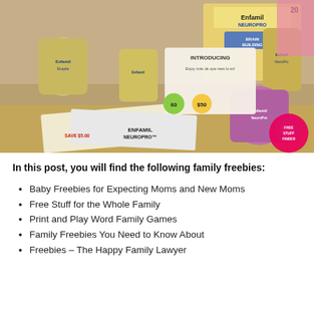[Figure (photo): Photo showing multiple cans and bottles of Enfamil NeuroPro and Enspire infant formula products arranged on a table, along with Enfamil NeuroPro promotional materials, coupons, and mailers. A pink pacifier is visible. A 'Free Stuff Finder' badge is in the bottom right corner.]
In this post, you will find the following family freebies:
Baby Freebies for Expecting Moms and New Moms
Free Stuff for the Whole Family
Print and Play Word Family Games
Family Freebies You Need to Know About
Freebies – The Happy Family Lawyer